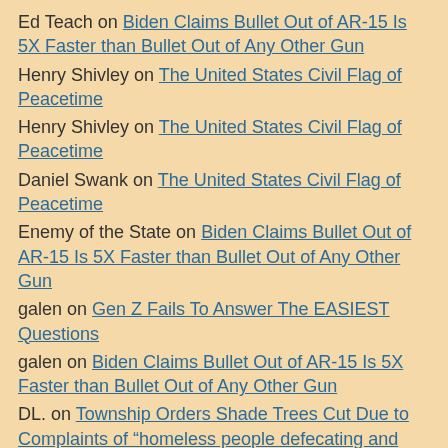Ed Teach on Biden Claims Bullet Out of AR-15 Is 5X Faster than Bullet Out of Any Other Gun
Henry Shivley on The United States Civil Flag of Peacetime
Henry Shivley on The United States Civil Flag of Peacetime
Daniel Swank on The United States Civil Flag of Peacetime
Enemy of the State on Biden Claims Bullet Out of AR-15 Is 5X Faster than Bullet Out of Any Other Gun
galen on Gen Z Fails To Answer The EASIEST Questions
galen on Biden Claims Bullet Out of AR-15 Is 5X Faster than Bullet Out of Any Other Gun
DL. on Township Orders Shade Trees Cut Due to Complaints of “homeless people defecating and urinating in the area.”
DL. on Biden Claims Bullet Out of AR-15 Is 5X Faster than Bullet Out of Any Other Gun
Enemy of the State on Biden Claims Bullet Out of